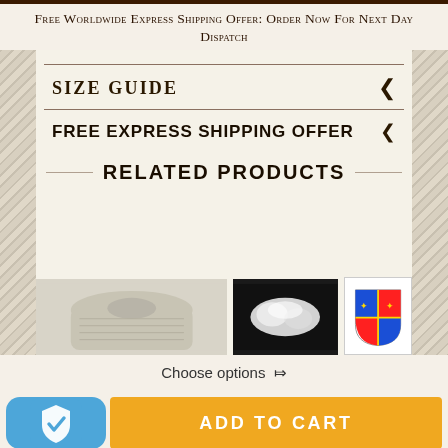Free Worldwide Express Shipping Offer: Order Now For Next Day Dispatch
SIZE GUIDE
FREE EXPRESS SHIPPING OFFER
RELATED PRODUCTS
[Figure (photo): Three product images: a grey knit sweater, white wool fibers on dark background, and a heraldic coat of arms]
Choose options ∨
ADD TO CART